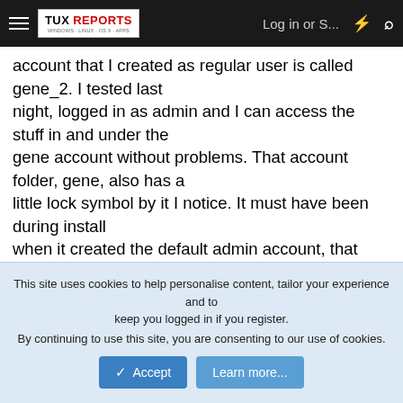TUX REPORTS | Log in or S... | [lightning icon] | [search icon]
account that I created as regular user is called gene_2. I tested last
night, logged in as admin and I can access the stuff in and under the
gene account without problems. That account folder, gene, also has a
little lock symbol by it I notice. It must have been during install when it created the default admin account, that gene name must have
been input by me or picked up from somewhere else.

I guess I'll just leave it alone as it's only an issue when looking under the users folder at that structure.
This site uses cookies to help personalise content, tailor your experience and to keep you logged in if you register.
By continuing to use this site, you are consenting to our use of cookies.